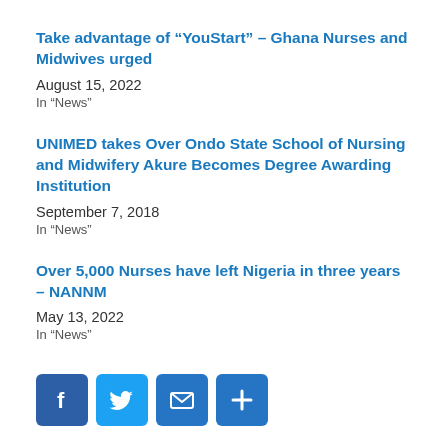Take advantage of “YouStart” – Ghana Nurses and Midwives urged
August 15, 2022
In "News"
UNIMED takes Over Ondo State School of Nursing and Midwifery Akure Becomes Degree Awarding Institution
September 7, 2018
In "News"
Over 5,000 Nurses have left Nigeria in three years – NANNM
May 13, 2022
In "News"
[Figure (infographic): Social sharing buttons: Facebook (blue), Twitter (light blue), Email (blue), More/Plus (blue)]